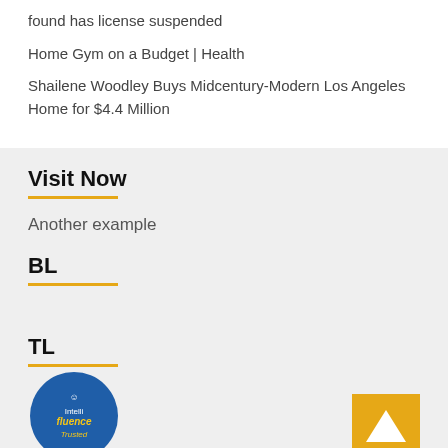found has license suspended
Home Gym on a Budget | Health
Shailene Woodley Buys Midcentury-Modern Los Angeles Home for $4.4 Million
Visit Now
Another example
BL
TL
[Figure (logo): Intellifluence Trusted Blogger badge — circular blue badge with 'Intellifluence' branding in yellow italic text]
[Figure (other): Orange/gold back-to-top button with white upward chevron arrow]